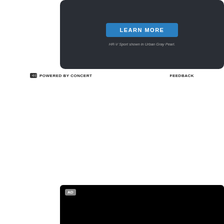[Figure (screenshot): Top Honda HR-V advertisement panel with dark background and blue LEARN MORE button]
HR-V Sport shown in Urban Gray Pearl.
POWERED BY CONCERT   FEEDBACK
[Figure (screenshot): Video advertisement player with black background, AD label in top left, and volume icon in bottom left]
[Figure (screenshot): Honda HR-V All-New advertisement panel with dark background, HR-V logo, and tagline Powered by determination.]